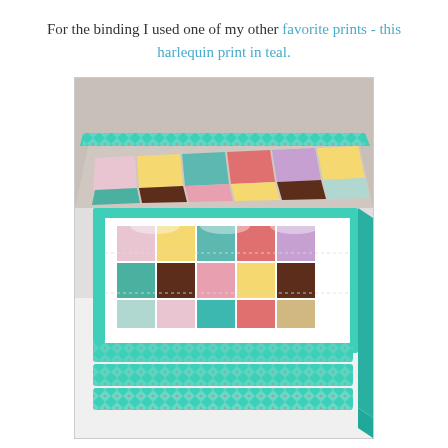For the binding I used one of my other favorite prints - this harlequin print in teal.
[Figure (photo): A close-up photograph of a folded quilt with colorful patchwork squares in pink, yellow, brown, teal, and white. The quilt has a teal harlequin print binding around the edges. The quilt is stacked and folded, showing multiple layers with the binding visible on the edges.]